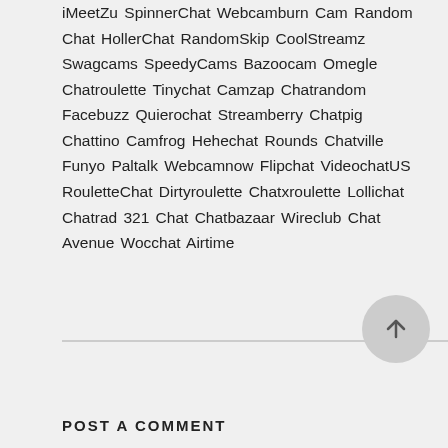iMeetZu SpinnerChat Webcamburn Cam Random Chat HollerChat RandomSkip CoolStreamz Swagcams SpeedyCams Bazoocam Omegle Chatroulette Tinychat Camzap Chatrandom Facebuzz Quierochat Streamberry Chatpig Chattino Camfrog Hehechat Rounds Chatville Funyo Paltalk Webcamnow Flipchat VideochatUS RouletteChat Dirtyroulette Chatxroulette Lollichat Chatrad 321 Chat Chatbazaar Wireclub Chat Avenue Wocchat Airtime
POST A COMMENT